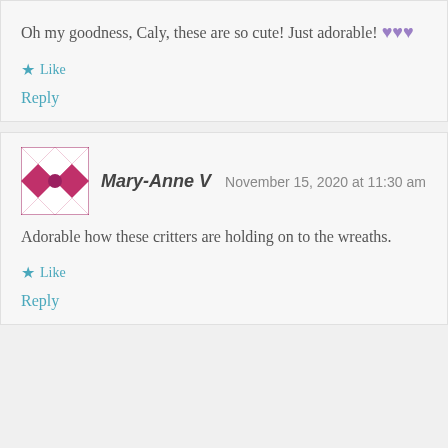Oh my goodness, Caly, these are so cute! Just adorable! 💜💜💜
Like
Reply
Mary-Anne V  November 15, 2020 at 11:30 am
Adorable how these critters are holding on to the wreaths.
Like
Reply